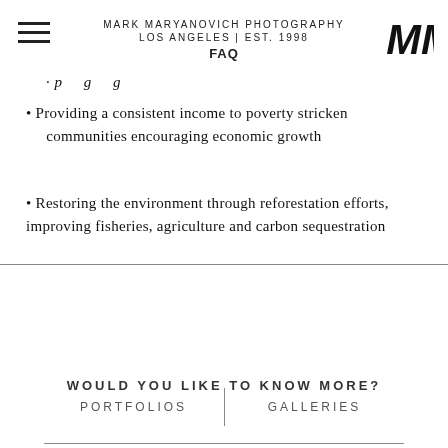MARK MARYANOVICH PHOTOGRAPHY
LOS ANGELES | EST. 1998
FAQ
Providing a consistent income to poverty stricken communities encouraging economic growth
Restoring the environment through reforestation efforts, improving fisheries, agriculture and carbon sequestration
WOULD YOU LIKE TO KNOW MORE?
PORTFOLIOS | GALLERIES